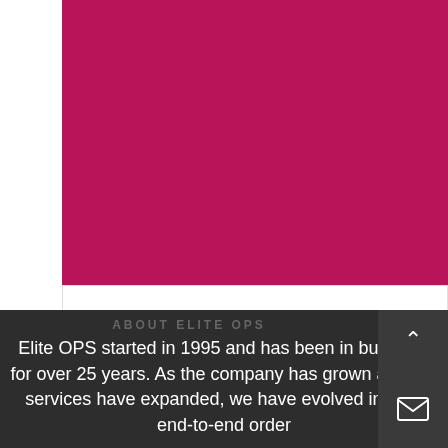[Figure (illustration): Magenta/dark pink solid color block filling top portion of a card]
USPS SERVICE ALERTS
[Figure (illustration): Call Now button with blue phone icon circle on dark rounded pill background, with a grey circular background behind it and a horizontal divider line extending to the right]
ABOUT ELITE OPS
Elite OPS started in 1995 and has been in business for over 25 years. As the company has grown and our services have expanded, we have evolved into an end-to-end order